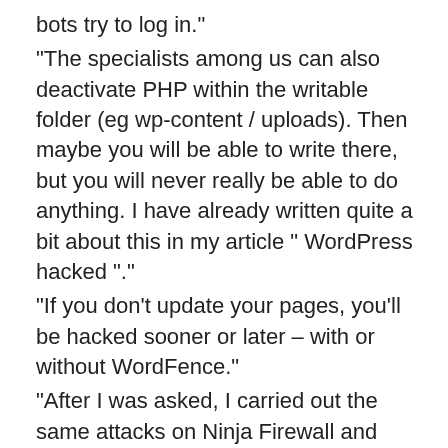bots try to log in." "The specialists among us can also deactivate PHP within the writable folder (eg wp-content / uploads). Then maybe you will be able to write there, but you will never really be able to do anything. I have already written quite a bit about this in my article " WordPress hacked "." "If you don't update your pages, you'll be hacked sooner or later – with or without WordFence." "After I was asked, I carried out the same attacks on Ninja Firewall and was able to determine that the attacks were successfully blocked by all of the methods mentioned. The only exception here are the PHP Object Injections. However, you can also activate the blocking of serialized strings in the settings. In addition to this attitude, there are many others that are more suitable for the professionals. In other words – you have to know what you are doing and if you activate everything there, you should check the system thoroughly. WordPress works quite a lot with serialized strings – so it may be that you are "safe"